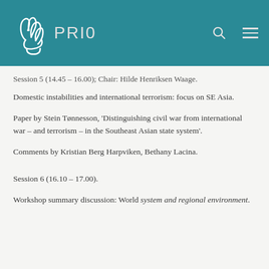PRIO
Session 5 (14.45 – 16.00); Chair: Hilde Henriksen Waage.
Domestic instabilities and international terrorism: focus on SE Asia.
Paper by Stein Tønnesson, 'Distinguishing civil war from international war – and terrorism – in the Southeast Asian state system'.
Comments by Kristian Berg Harpviken, Bethany Lacina.
Session 6 (16.10 – 17.00).
Workshop summary discussion: World system and regional environment.